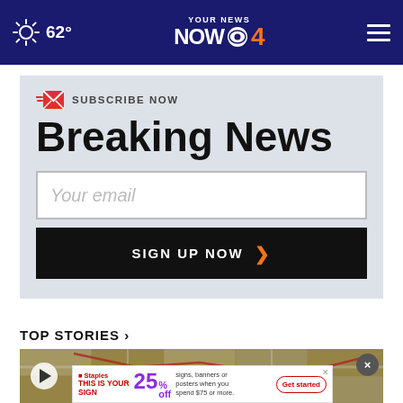62° YOUR NEWS NOW 4
SUBSCRIBE NOW
Breaking News
Your email
SIGN UP NOW
TOP STORIES ›
[Figure (screenshot): Video thumbnail showing a map of Kokomo area with THURSDAY 2:45 PM timestamp overlay, play button, and close button]
[Figure (screenshot): Staples advertisement banner: THIS IS YOUR SIGN - 25% off signs, banners or posters when you spend $75 or more. Get started button.]